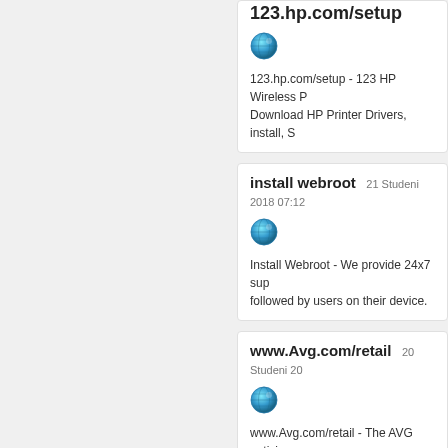123.hp.com/setup
[Figure (illustration): Globe icon for 123.hp.com/setup]
123.hp.com/setup - 123 HP Wireless P... Download HP Printer Drivers, install, S...
install webroot   21 Studeni 2018 07:12
[Figure (illustration): Globe icon for install webroot]
Install Webroot - We provide 24x7 sup... followed by users on their device.
www.Avg.com/retail   20 Studeni 20...
[Figure (illustration): Globe icon for www.Avg.com/retail]
www.Avg.com/retail - The AVG antiviru... working. It blocks malicious websites,... or online data that you share with your...